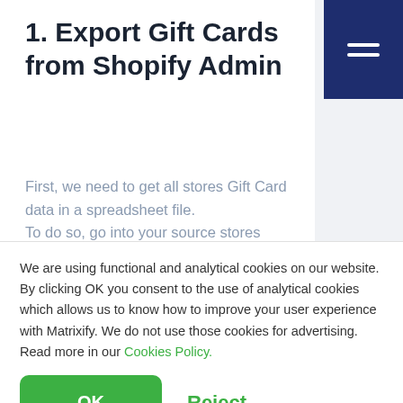1. Export Gift Cards from Shopify Admin
First, we need to get all stores Gift Card data in a spreadsheet file. To do so, go into your source stores
We are using functional and analytical cookies on our website. By clicking OK you consent to the use of analytical cookies which allows us to know how to improve your user experience with Matrixify. We do not use those cookies for advertising. Read more in our Cookies Policy.
OK   Reject